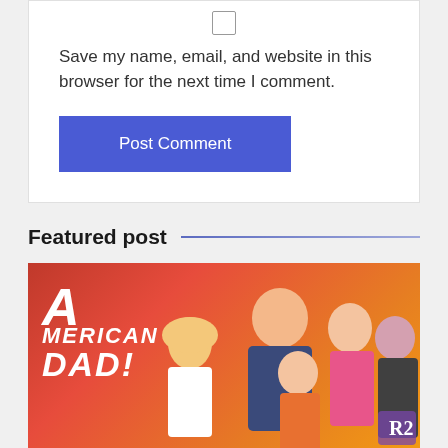Save my name, email, and website in this browser for the next time I comment.
Post Comment
Featured post
[Figure (illustration): American Dad! animated TV show promotional image with cartoon characters on a red-orange gradient background. The logo 'American Dad!' is displayed in bold white italic text on the left side. Multiple cartoon characters are shown on the right side of the image. A watermark 'R2' appears in the bottom-right corner.]